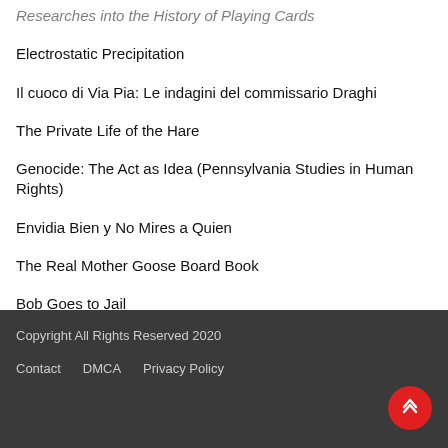Electrostatic Precipitation
Il cuoco di Via Pia: Le indagini del commissario Draghi
The Private Life of the Hare
Genocide: The Act as Idea (Pennsylvania Studies in Human Rights)
Envidia Bien y No Mires a Quien
The Real Mother Goose Board Book
Bob Goes to Jail
Copyright All Rights Reserved 2020
Contact    DMCA    Privacy Policy